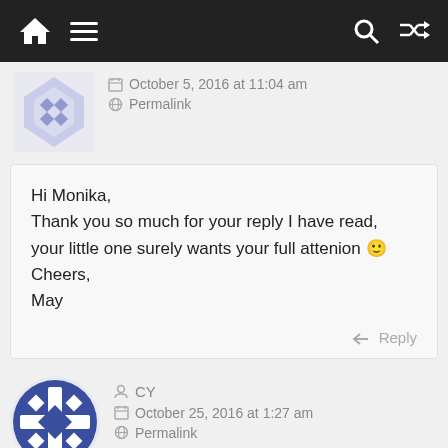[Figure (screenshot): Website top navigation bar with home icon, hamburger menu, search icon, and shuffle icon on dark background]
October 5, 2016 at 11:04 am
Permalink
Hi Monika,
Thank you so much for your reply I have read, your little one surely wants your full attenion 🙂
Cheers,
May
Reply
CY
October 25, 2016 at 1:27 am
Permalink
Hi Supersilly,